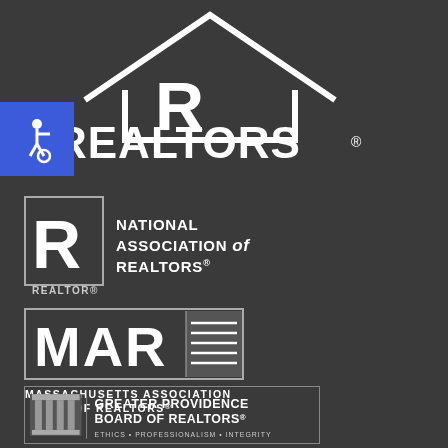[Figure (logo): REALTORS large white logo with house/R graphic at top center]
[Figure (logo): Accessibility wheelchair icon in blue square badge]
[Figure (logo): National Association of REALTORS logo with R in box and REALTOR text]
[Figure (logo): Massachusetts Association of REALTORS (MAR) logo with building graphic]
[Figure (logo): Greater Providence Board of REALTORS logo with column graphic, Ethics Professionalism Integrity tagline]
FOLLOW US
[Figure (illustration): Social media icons at bottom (partially visible)]